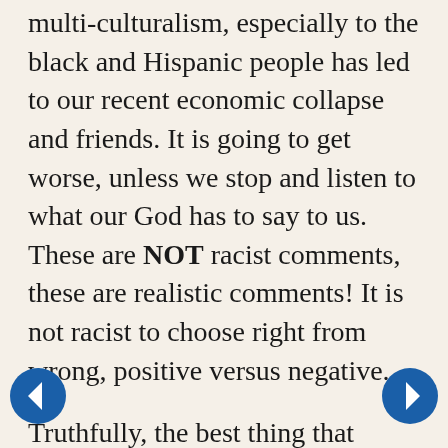multi-culturalism, especially to the black and Hispanic people has led to our recent economic collapse and friends. It is going to get worse, unless we stop and listen to what our God has to say to us. These are NOT racist comments, these are realistic comments! It is not racist to choose right from wrong, positive versus negative.
Truthfully, the best thing that could ever happen to black Americans would be to learn how to be an "American." Italians, for example, have been able to do it, and they